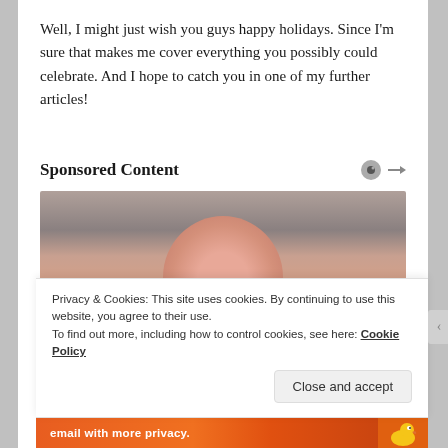Well, I might just wish you guys happy holidays. Since I'm sure that makes me cover everything you possibly could celebrate. And I hope to catch you in one of my further articles!
Sponsored Content
[Figure (photo): Close-up photo of what appears to be a bald head or smooth rounded skin surface against a blurred grey background, used in a sponsored content advertisement]
Privacy & Cookies: This site uses cookies. By continuing to use this website, you agree to their use.
To find out more, including how to control cookies, see here: Cookie Policy
Close and accept
email with more privacy.